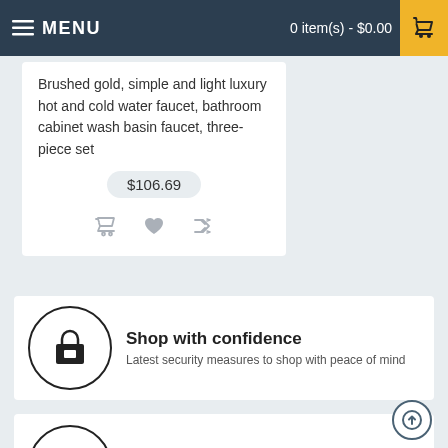MENU | 0 item(s) - $0.00
Brushed gold, simple and light luxury hot and cold water faucet, bathroom cabinet wash basin faucet, three-piece set
$106.69
Shop with confidence
Latest security measures to shop with peace of mind
Track your order
Get updates on your order status